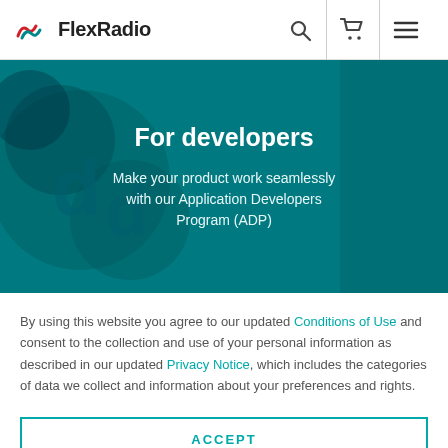FlexRadio
[Figure (screenshot): FlexRadio website hero banner with teal background showing blurred electronic hardware. Text reads 'For developers' and 'Make your product work seamlessly with our Application Developers Program (ADP)']
By using this website you agree to our updated Conditions of Use and consent to the collection and use of your personal information as described in our updated Privacy Notice, which includes the categories of data we collect and information about your preferences and rights.
ACCEPT